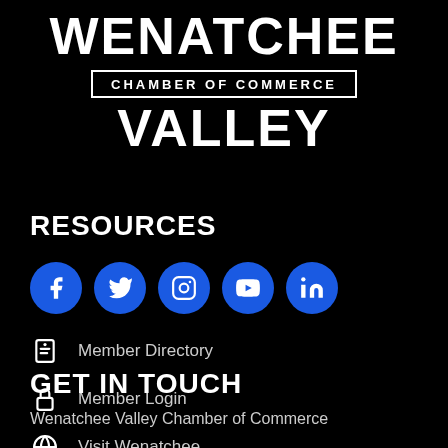[Figure (logo): Wenatchee Valley Chamber of Commerce logo — large bold WENATCHEE text, boxed CHAMBER OF COMMERCE text, large bold VALLEY text, all white on black background]
RESOURCES
[Figure (infographic): Row of 5 social media icon circles (blue): Facebook, Twitter, Instagram, YouTube, LinkedIn]
Member Directory
Member Login
Visit Wenatchee
GET IN TOUCH
Wenatchee Valley Chamber of Commerce